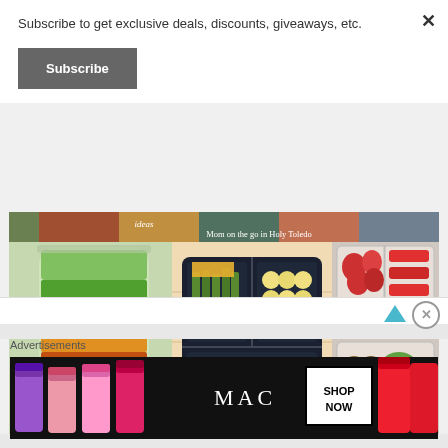Subscribe to get exclusive deals, discounts, giveaways, etc.
Subscribe
[Figure (photo): Food collage showing a mason jar salad, a sectioned lunchbox with vegetables and cheese, and a snack container with fruits and vegetables. Text overlay reads 'Mom on the go in Holy Toledo']
[Figure (screenshot): Advertisement bar with up-arrow triangle icon and close circle button]
Advertisements
[Figure (photo): MAC Cosmetics advertisement showing colorful lipsticks on left, MAC logo in center, and SHOP NOW box on right]